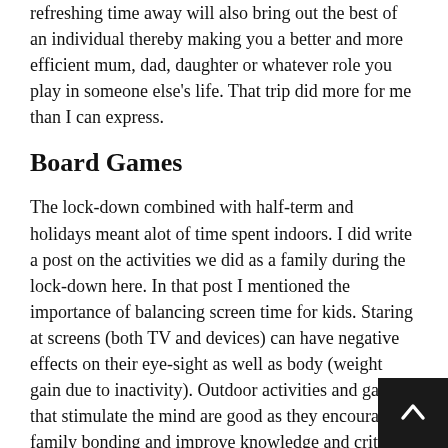refreshing time away will also bring out the best of an individual thereby making you a better and more efficient mum, dad, daughter or whatever role you play in someone else's life. That trip did more for me than I can express.
Board Games
The lock-down combined with half-term and holidays meant alot of time spent indoors. I did write a post on the activities we did as a family during the lock-down here. In that post I mentioned the importance of balancing screen time for kids. Staring at screens (both TV and devices) can have negative effects on their eye-sight as well as body (weight gain due to inactivity). Outdoor activities and games that stimulate the mind are good as they encourage family bonding and improve knowledge and critical thinking.
Apart from puzzles which I mentioned in that article, we bought some board games including Monopoly, Articulate for kids and Tension.
Monopoly